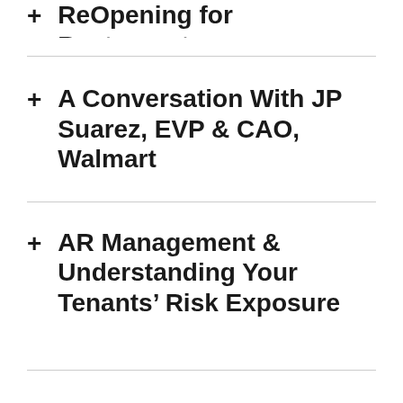+ ReOpening for Restaurants
+ A Conversation With JP Suarez, EVP & CAO, Walmart
+ AR Management & Understanding Your Tenants' Risk Exposure